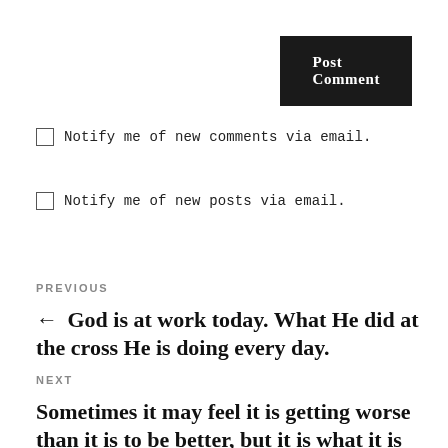Post Comment
Notify me of new comments via email.
Notify me of new posts via email.
PREVIOUS
← God is at work today. What He did at the cross He is doing every day.
NEXT
Sometimes it may feel it is getting worse than it is to be better, but it is what it is inside